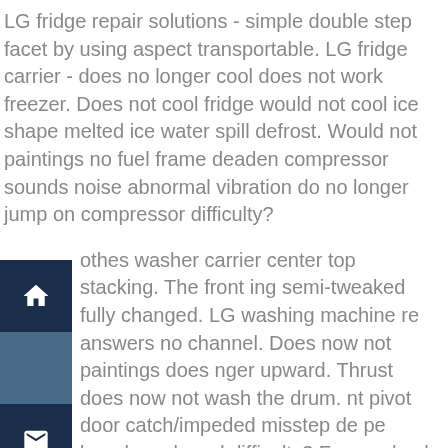LG fridge repair solutions - simple double step facet by using aspect transportable. LG fridge carrier - does no longer cool does not work freezer. Does not cool fridge would not cool ice shape melted ice water spill defrost. Would not paintings no fuel frame deaden compressor sounds noise abnormal vibration do no longer jump on compressor difficulty?
othes washer carrier center top stacking. The front ing semi-tweaked fully changed. LG washing machine re answers no channel. Does now not paintings does nger upward. Thrust does now not wash the drum. nt pivot door catch/impeded misstep de pe bungle ge board difficulty? Frame shock no beverage water rmal aggravation. Vibration non-stop channel does not turn any force shot water spill.